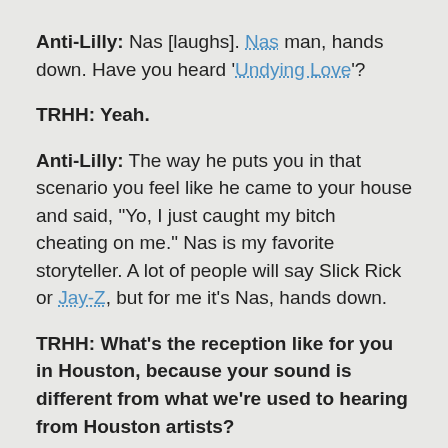Anti-Lilly: Nas [laughs]. Nas man, hands down. Have you heard 'Undying Love'?
TRHH: Yeah.
Anti-Lilly: The way he puts you in that scenario you feel like he came to your house and said, "Yo, I just caught my bitch cheating on me." Nas is my favorite storyteller. A lot of people will say Slick Rick or Jay-Z, but for me it's Nas, hands down.
TRHH: What's the reception like for you in Houston, because your sound is different from what we're used to hearing from Houston artists?
Anti-Lilly: That's a really good question, too. It's a misconception. Houston is a very diverse place musically. It's not much of a balance as far as what's